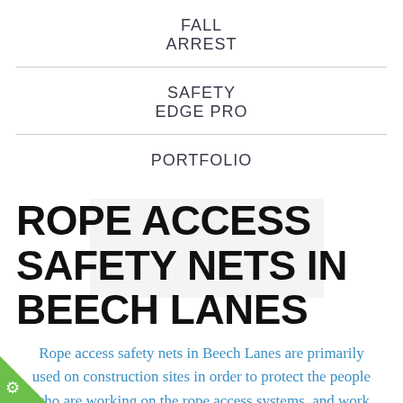FALL ARREST
SAFETY EDGE PRO
PORTFOLIO
ROPE ACCESS SAFETY NETS IN BEECH LANES
Rope access safety nets in Beech Lanes are primarily used on construction sites in order to protect the people who are working on the rope access systems, and work as a fall arrest system, as well as being used to collect any debris that